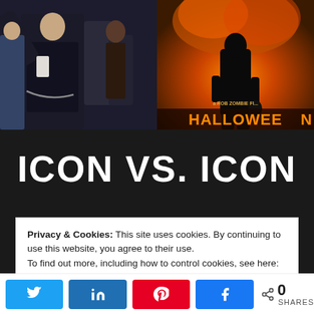[Figure (photo): Left: dark photo of young man in black jacket with belt chain, other figures in background. Right: Halloween movie poster by Rob Zombie, figure standing against fiery orange background, text 'HALLOWEEN' and 'a Rob Zombie fi...']
ICON VS. ICON
Privacy & Cookies: This site uses cookies. By continuing to use this website, you agree to their use.
To find out more, including how to control cookies, see here: Cookie Policy
0 SHARES (Twitter, LinkedIn, Pinterest, Facebook share buttons)